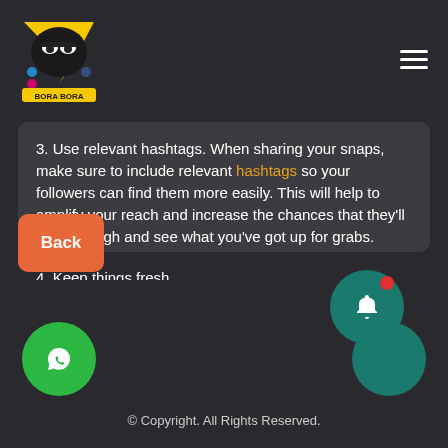Bora Bora - logo and navigation header
3. Use relevant hashtags. When sharing your snaps, make sure to include relevant hashtags so your followers can find them more easily. This will help to amplify your reach and increase the chances that they'll click through and see what you've got up for grabs.
4. Keep things fresh.
Back
© Copyright. All Rights Reserved.